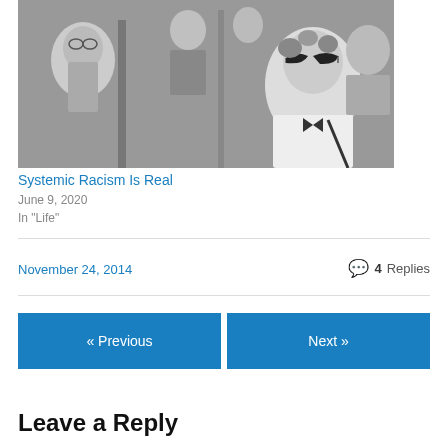[Figure (photo): Black and white photograph of people seated in what appears to be a bus or subway car. A man with glasses in a suit is visible on the left, and a woman wearing cat-eye sunglasses and a white blouse with a bow is prominent on the right.]
Systemic Racism Is Real
June 9, 2020
In "Life"
November 24, 2014
4 Replies
« Previous
Next »
Leave a Reply